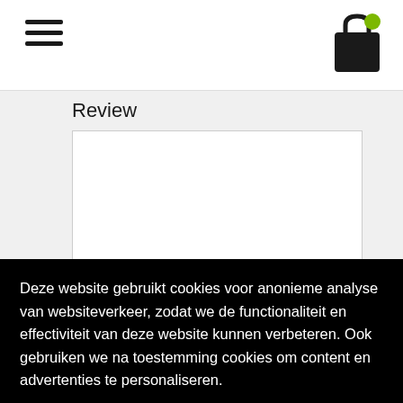[Figure (screenshot): Hamburger menu icon (three horizontal lines) in top left navigation bar]
[Figure (screenshot): Shopping bag icon with green notification dot in top right navigation bar]
Review
[Figure (screenshot): Empty white textarea input box for writing a review, with resize handle in bottom right corner]
[Figure (screenshot): Green submit button below the review textarea]
Deze website gebruikt cookies voor anonieme analyse van websiteverkeer, zodat we de functionaliteit en effectiviteit van deze website kunnen verbeteren. Ook gebruiken we na toestemming cookies om content en advertenties te personaliseren.